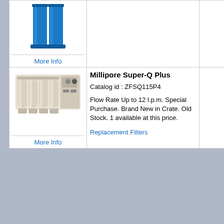[Figure (photo): Blue water filter unit, tall cylindrical columns]
More Info
[Figure (photo): Millipore Super-Q Plus filter system with four cylindrical filter columns mounted on wall bracket]
More Info
Millipore Super-Q Plus
Catalog id : ZFSQ115P4
Flow Rate Up to 12 l.p.m. Special Purchase. Brand New in Crate. Old Stock. 1 available at this price.
Replacement Filters
[Figure (photo): Laboratory banner showing gloved hands pouring liquid into flask]
Hig
All Images are represe
Tags : LABORATORY WATER SUPPLIES | LABORATORY | W
LABORATORY-WATER-SUPPLIES.COM
Website Software - Multi-Web
Micro-Website